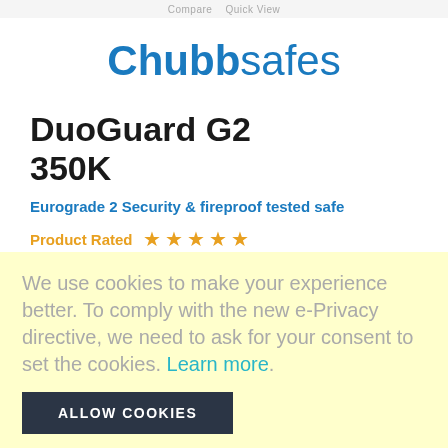Compare  Quick View
[Figure (logo): Chubb safes logo in blue bold text]
DuoGuard G2 350K
Eurograde 2 Security & fireproof tested safe
Product Rated ★★★★★
Insurance Cover: £17500 Cash
We use cookies to make your experience better. To comply with the new e-Privacy directive, we need to ask for your consent to set the cookies. Learn more.
ALLOW COOKIES